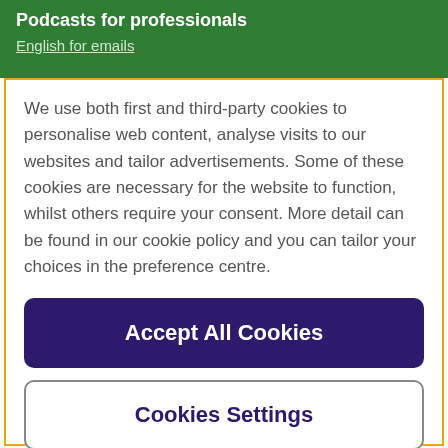Podcasts for professionals
English for emails
We use both first and third-party cookies to personalise web content, analyse visits to our websites and tailor advertisements. Some of these cookies are necessary for the website to function, whilst others require your consent. More detail can be found in our cookie policy and you can tailor your choices in the preference centre.
Accept All Cookies
Cookies Settings